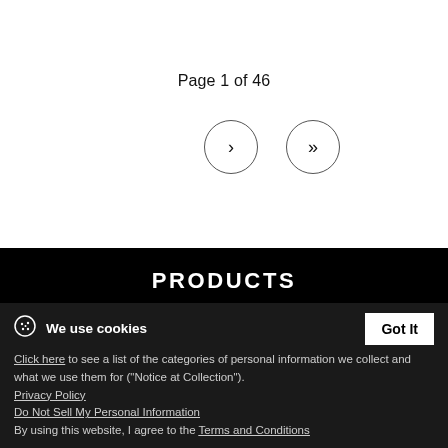Page 1 of 46
[Figure (other): Navigation buttons: single chevron right and double chevron right, both inside circular borders]
PRODUCTS
SHOP
SERVICE
CONTACT
We use cookies
Click here to see a list of the categories of personal information we collect and what we use them for ("Notice at Collection").
Privacy Policy
Do Not Sell My Personal Information
By using this website, I agree to the Terms and Conditions